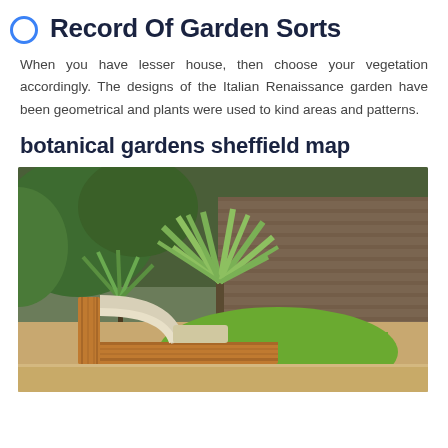Record Of Garden Sorts
When you have lesser house, then choose your vegetation accordingly. The designs of the Italian Renaissance garden have been geometrical and plants were used to kind areas and patterns.
botanical gardens sheffield map
[Figure (photo): A modern garden with wooden decking benches arranged in a curved C-shape around a green lawn area, surrounded by lush tropical plants including a large fan palm, with a brick wall in the background.]